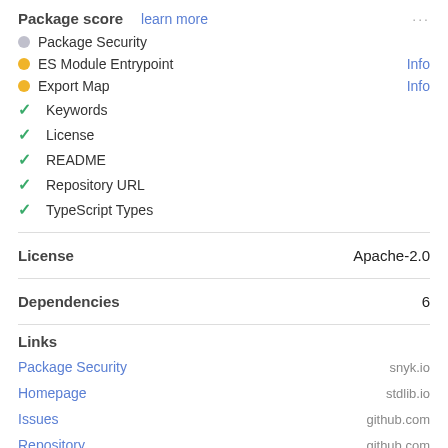Package score  learn more
Package Security
ES Module Entrypoint   Info
Export Map   Info
Keywords
License
README
Repository URL
TypeScript Types
License   Apache-2.0
Dependencies   6
Links
Package Security   snyk.io
Homepage   stdlib.io
Issues   github.com
Repository   github.com